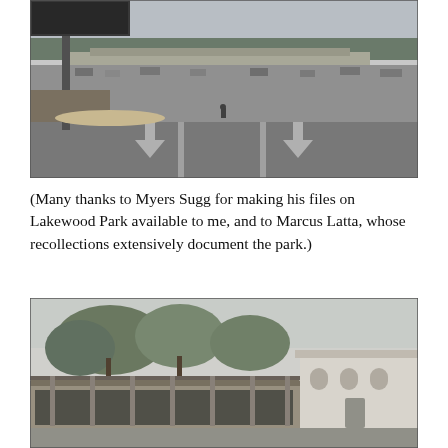[Figure (photo): Black and white photograph of a shopping center parking lot entrance with a road, directional arrows painted on pavement, a large sign post on the left, and a strip mall building visible in the background.]
(Many thanks to Myers Sugg for making his files on Lakewood Park available to me, and to Marcus Latta, whose recollections extensively document the park.)
[Figure (photo): Black and white photograph of a low-roofed building with trees behind it and a white building with arched windows visible to the right, possibly a park entrance or pavilion.]